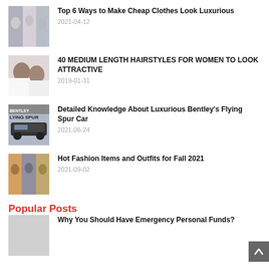Top 6 Ways to Make Cheap Clothes Look Luxurious
2021-04-12
40 MEDIUM LENGTH HAIRSTYLES FOR WOMEN TO LOOK ATTRACTIVE
2019-01-31
Detailed Knowledge About Luxurious Bentley's Flying Spur Car
2021-06-24
Hot Fashion Items and Outfits for Fall 2021
2021-09-02
Popular Posts
Why You Should Have Emergency Personal Funds?